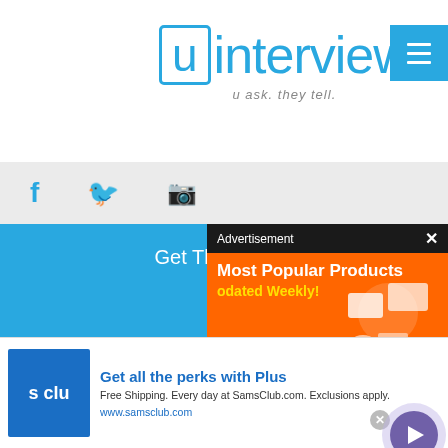[Figure (logo): uInterview logo with tagline 'u ask. they tell.']
[Figure (screenshot): Social media icons bar with Facebook, Twitter, Instagram icons]
Get The Free uInterview App!
News And More
[Figure (screenshot): Download on the App Store button]
[Figure (screenshot): Get it on Google Play button]
[Figure (screenshot): Advertisement overlay: Most Popular Products Updated Weekly! orange ad popup]
[Figure (screenshot): Sam's Club advertisement: Get all the perks with Plus. Free Shipping. Every day at SamsClub.com. Exclusions apply. www.samsclub.com]